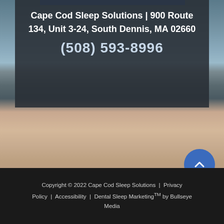[Figure (photo): Beach/ocean background photo with dark overlay box showing address information for Cape Cod Sleep Solutions. Ocean waves visible at top, sandy beach in middle, dark footer at bottom.]
Cape Cod Sleep Solutions | 900 Route 134, Unit 3-24, South Dennis, MA 02660
(508) 593-8996
Copyright © 2022 Cape Cod Sleep Solutions  |  Privacy Policy  |  Accessibility  |  Dental Sleep Marketing™ by Bullseye Media